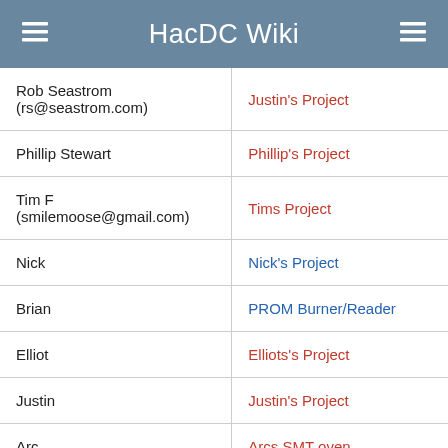HacDC Wiki
| Rob Seastrom
(rs@seastrom.com) | Justin's Project |
| Phillip Stewart | Phillip's Project |
| Tim F
(smilemoose@gmail.com) | Tims Project |
| Nick | Nick's Project |
| Brian | PROM Burner/Reader |
| Elliot | Elliots's Project |
| Justin | Justin's Project |
| Arc | Arcs SMT oven |